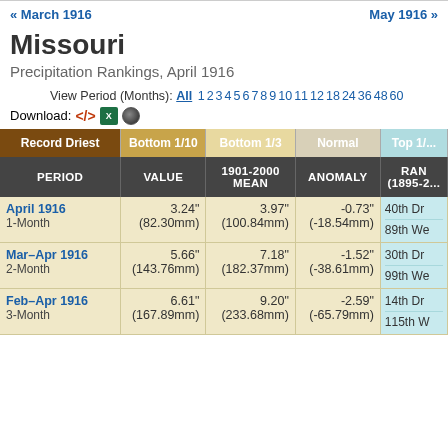« March 1916    May 1916 »
Missouri
Precipitation Rankings, April 1916
View Period (Months): All 1 2 3 4 5 6 7 8 9 10 11 12 18 24 36 48 60
Download:
| PERIOD | VALUE | 1901-2000 MEAN | ANOMALY | RANK (1895-2...) |
| --- | --- | --- | --- | --- |
| April 1916
1-Month | 3.24"
(82.30mm) | 3.97"
(100.84mm) | -0.73"
(-18.54mm) | 40th Dr
89th We |
| Mar-Apr 1916
2-Month | 5.66"
(143.76mm) | 7.18"
(182.37mm) | -1.52"
(-38.61mm) | 30th Dr
99th We |
| Feb-Apr 1916
3-Month | 6.61"
(167.89mm) | 9.20"
(233.68mm) | -2.59"
(-65.79mm) | 14th Dr
115th W |